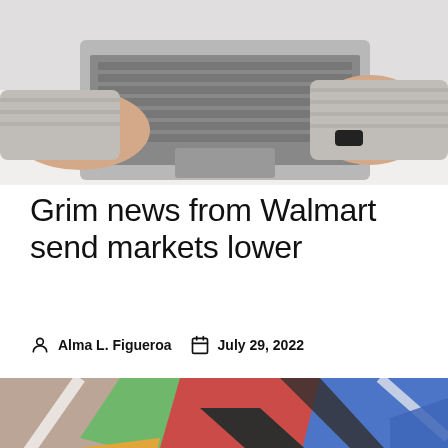[Figure (photo): Person's hands typing on a laptop computer on a white desk, wearing a striped long-sleeve shirt and watch]
Grim news from Walmart send markets lower
Alma L. Figueroa   July 29, 2022
[Figure (photo): Colorful graffiti on a brick wall featuring a yellow face and bold black, red, green, blue paint strokes]